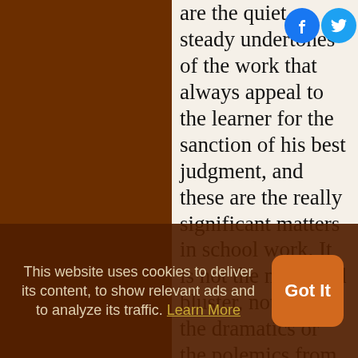are the quiet, steady undertones of the work that always appeal to the learner for the sanction of his best judgment, and these are the really significant matters in school work. It is not the noise and bluster, not even the dramatics or the polemics from the teacher's desk, that abide longest and leave the deepest and stablest imprint upon character. It is these still, small voices that speak unmistakably for the right and against the wrong and the erroneous
[Figure (other): Facebook and Twitter social share icons in top right corner]
This website uses cookies to deliver its content, to show relevant ads and to analyze its traffic. Learn More